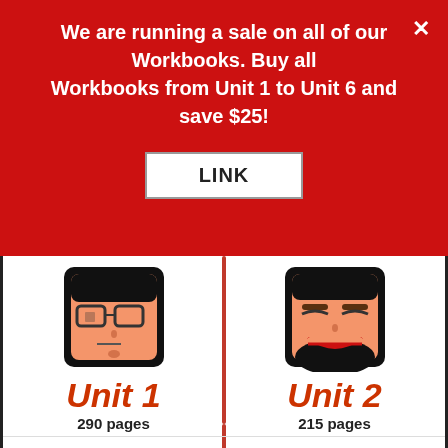We are running a sale on all of our Workbooks. Buy all Workbooks from Unit 1 to Unit 6 and save $25!
LINK
[Figure (illustration): Pixel-art cartoon face with glasses and dark hair - Unit 1 character]
Unit 1
290 pages
[Figure (illustration): Pixel-art cartoon smiling female face with dark hair - Unit 2 character]
Unit 2
215 pages
[Figure (illustration): Pixel-art cartoon smiling male face with dark hair - Unit 3 character]
Unit 3
180 pages
[Figure (illustration): Pixel-art cartoon face with round glasses - Unit 4 character]
Unit 4
165 pages
[Figure (illustration): Partially visible grey textured cartoon head - Unit 5 character]
[Figure (illustration): Partially visible grey hat cartoon head - Unit 6 character]